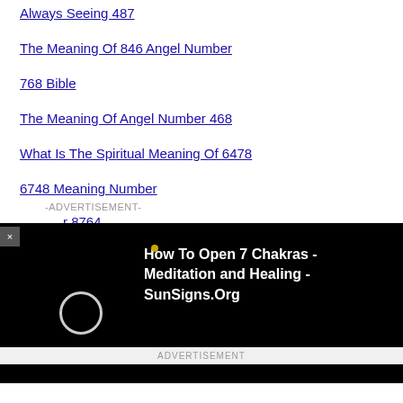Always Seeing 487
The Meaning Of 846 Angel Number
768 Bible
The Meaning Of Angel Number 468
What Is The Spiritual Meaning Of 6478
6748 Meaning Number
…r 8764
-ADVERTISEMENT-
[Figure (screenshot): Black video player bar showing 'How To Open 7 Chakras - Meditation and Healing - SunSigns.Org' with a circle icon and golden dot, and a close (x) button on the left.]
ADVERTISEMENT